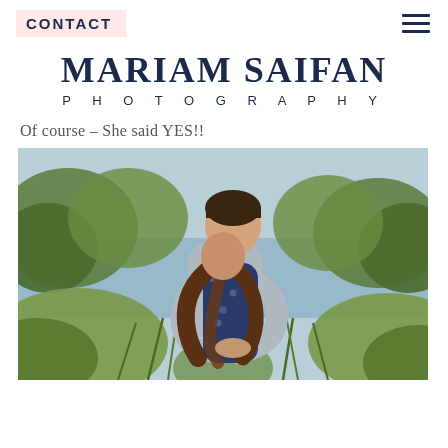CONTACT
MARIAM SAIFAN PHOTOGRAPHY
Of course – She said YES!!
[Figure (photo): Couple embracing outdoors near a lake with green foliage in background. Man in grey shirt hugging woman in navy floral dress from behind, both looking down.]